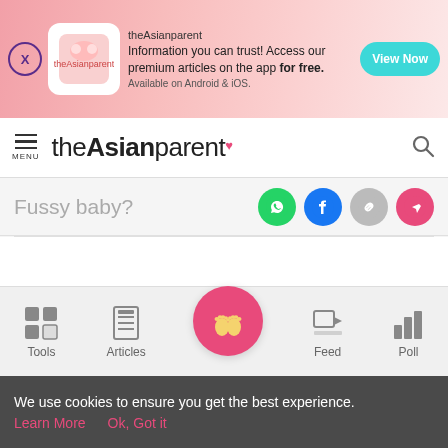[Figure (screenshot): theAsianparent app advertisement banner with pink gradient background, app icon, text 'Information you can trust! Access our premium articles on the app for free. Available on Android & iOS.' and a teal 'View Now' button]
MENU theAsianparent [search icon]
Fussy baby?
[Figure (infographic): Social sharing icons: WhatsApp (green), Facebook (blue), copy link (grey), share (red/pink)]
[Figure (infographic): Bottom navigation bar with Tools, Articles, baby feet home icon, Feed, Poll]
We use cookies to ensure you get the best experience.
Learn More   Ok, Got it